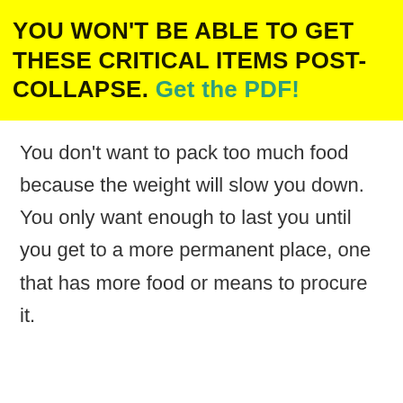YOU WON'T BE ABLE TO GET THESE CRITICAL ITEMS POST-COLLAPSE. Get the PDF!
You don't want to pack too much food because the weight will slow you down. You only want enough to last you until you get to a more permanent place, one that has more food or means to procure it.